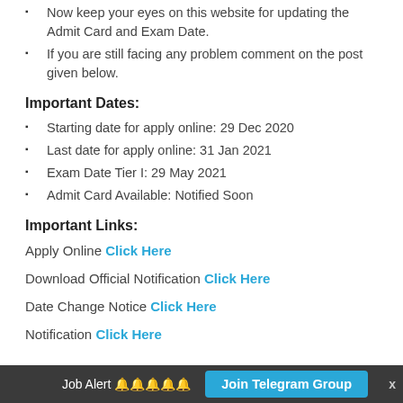Now keep your eyes on this website for updating the Admit Card and Exam Date.
If you are still facing any problem comment on the post given below.
Important Dates:
Starting date for apply online: 29 Dec 2020
Last date for apply online: 31 Jan 2021
Exam Date Tier I: 29 May 2021
Admit Card Available: Notified Soon
Important Links:
Apply Online Click Here
Download Official Notification Click Here
Date Change Notice Click Here
Notification Click Here
Job Alert 🔔🔔🔔🔔🔔   Join Telegram Group